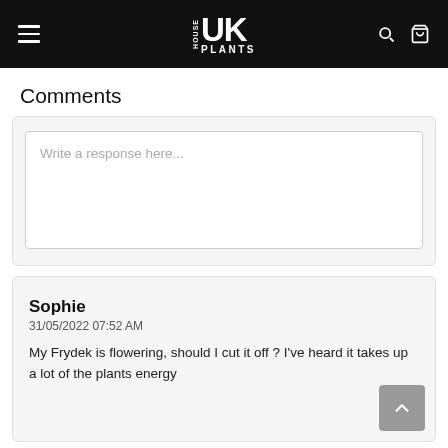House UK Plants
Comments
Write a response here...
Sophie
31/05/2022 07:52 AM
My Frydek is flowering, should I cut it off ? I've heard it takes up a lot of the plants energy